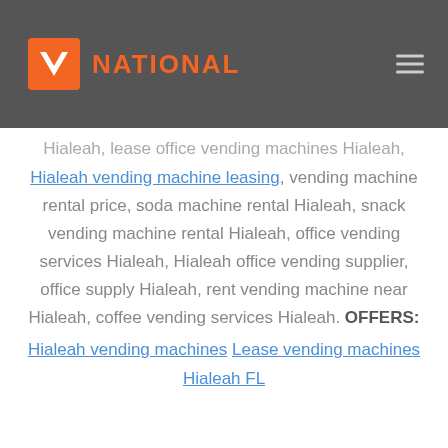[Figure (logo): Vending National logo: orange square with white V, orange text reading NATIONAL]
Hialeah, lease office vending machines Hialeah, Hialeah vending machine leasing, vending machine rental price, soda machine rental Hialeah, snack vending machine rental Hialeah, office vending services Hialeah, Hialeah office vending supplier, office supply Hialeah, rent vending machine near Hialeah, coffee vending services Hialeah. OFFERS: Hialeah vending machines Lease vending machines Hialeah FL